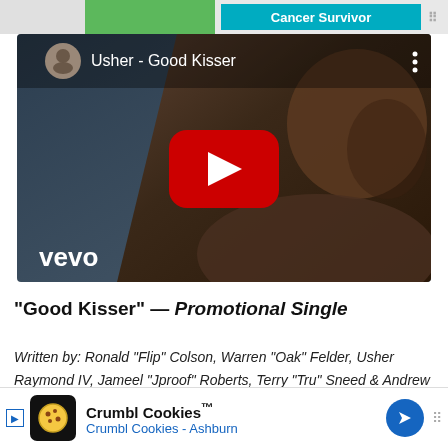[Figure (screenshot): Top advertisement bar with green and teal 'Cancer Survivor' banner]
[Figure (screenshot): YouTube video thumbnail for Usher - Good Kisser on Vevo, showing Usher with a play button overlay]
“Good Kisser” — Promotional Single
Written by: Ronald “Flip” Colson, Warren “Oak” Felder, Usher Raymond IV, Jameel “Jproof” Roberts, Terry “Tru” Sneed & Andrew “Pop” Wansel
[Figure (screenshot): Bottom advertisement bar for Crumbl Cookies - Ashburn]